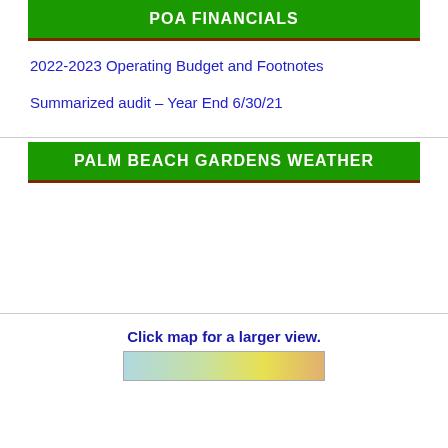POA FINANCIALS
2022-2023 Operating Budget and Footnotes
Summarized audit – Year End 6/30/21
PALM BEACH GARDENS WEATHER
Click map for a larger view.
[Figure (map): Map image thumbnail of Palm Beach Gardens area]